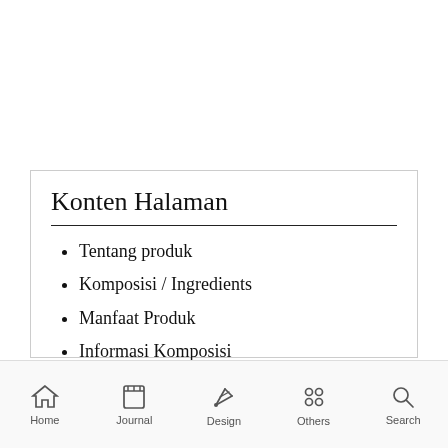Konten Halaman
Tentang produk
Komposisi / Ingredients
Manfaat Produk
Informasi Komposisi
Rekomendasi Belanja
Home  Journal  Design  Others  Search